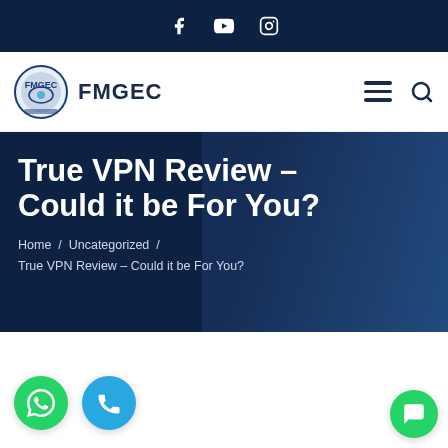Social icons: Facebook, YouTube, Instagram
[Figure (logo): FMGEC logo with circular emblem and text FMGEC]
True VPN Review – Could it be For You?
Home / Uncategorized / True VPN Review – Could it be For You?
[Figure (illustration): WhatsApp green float button and blue phone float button at bottom left; green chat bubble button at bottom right]